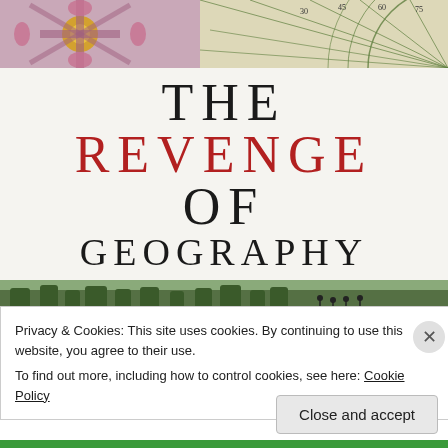[Figure (illustration): Decorative antique map detail with compass rose, pink and gold ornamentation on left, green compass lines and degree markings on right, cream parchment background.]
THE REVENGE OF GEOGRAPHY
[Figure (illustration): Horizontal strip of an antique map or landscape painting showing green trees and figures in the distance.]
Privacy & Cookies: This site uses cookies. By continuing to use this website, you agree to their use.
To find out more, including how to control cookies, see here: Cookie Policy
Close and accept